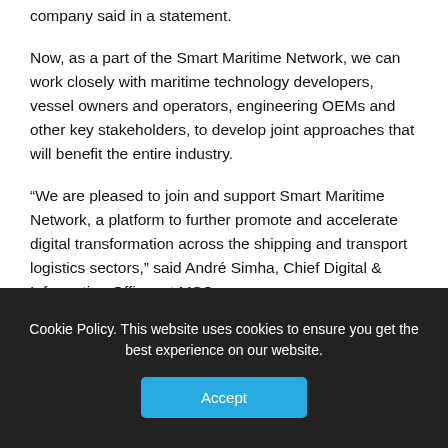company said in a statement.
Now, as a part of the Smart Maritime Network, we can work closely with maritime technology developers, vessel owners and operators, engineering OEMs and other key stakeholders, to develop joint approaches that will benefit the entire industry.
“We are pleased to join and support Smart Maritime Network, a platform to further promote and accelerate digital transformation across the shipping and transport logistics sectors,” said André Simha, Chief Digital & Information Officer at MSC.
“Collaborating with other members to solve key
Cookie Policy. This website uses cookies to ensure you get the best experience on our website.